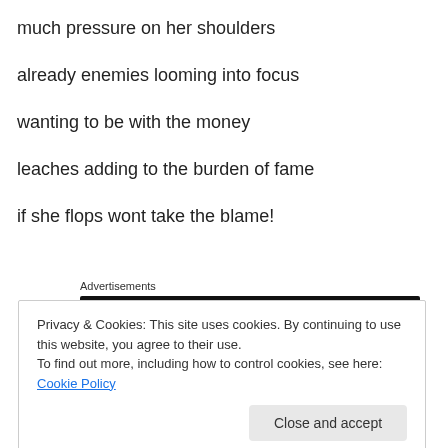much pressure on her shoulders
already enemies looming into focus
wanting to be with the money
leaches adding to the burden of fame
if she flops wont take the blame!
Advertisements
Privacy & Cookies: This site uses cookies. By continuing to use this website, you agree to their use.
To find out more, including how to control cookies, see here: Cookie Policy